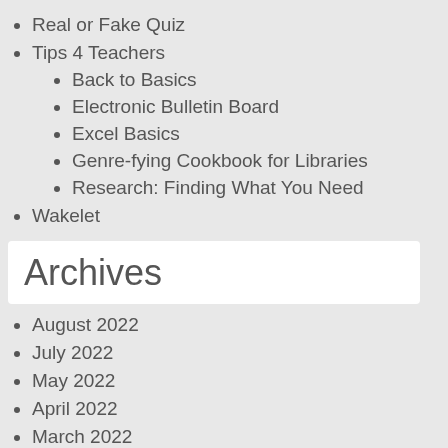Real or Fake Quiz
Tips 4 Teachers
Back to Basics
Electronic Bulletin Board
Excel Basics
Genre-fying Cookbook for Libraries
Research: Finding What You Need
Wakelet
Archives
August 2022
July 2022
May 2022
April 2022
March 2022
February 2022
January 2022